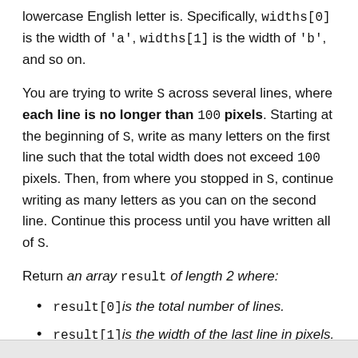lowercase English letter is. Specifically, widths[0] is the width of 'a', widths[1] is the width of 'b', and so on.
You are trying to write S across several lines, where each line is no longer than 100 pixels. Starting at the beginning of S, write as many letters on the first line such that the total width does not exceed 100 pixels. Then, from where you stopped in S, continue writing as many letters as you can on the second line. Continue this process until you have written all of S.
Return an array result of length 2 where:
result[0] is the total number of lines.
result[1] is the width of the last line in pixels.
Example 1: